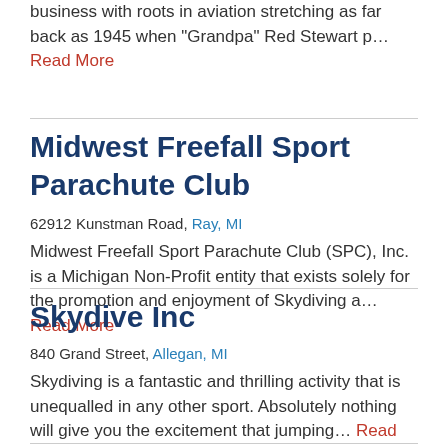business with roots in aviation stretching as far back as 1945 when "Grandpa" Red Stewart p… Read More
Midwest Freefall Sport Parachute Club
62912 Kunstman Road, Ray, MI
Midwest Freefall Sport Parachute Club (SPC), Inc. is a Michigan Non-Profit entity that exists solely for the promotion and enjoyment of Skydiving a… Read More
Skydive Inc
840 Grand Street, Allegan, MI
Skydiving is a fantastic and thrilling activity that is unequalled in any other sport. Absolutely nothing will give you the excitement that jumping… Read More